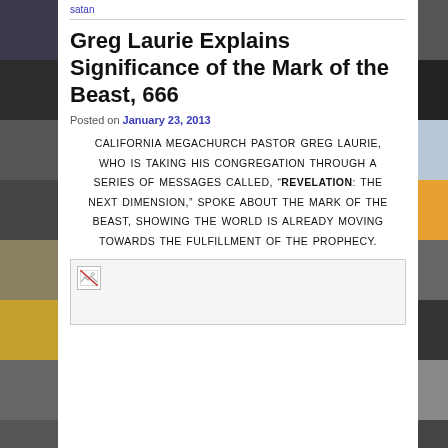satan
Greg Laurie Explains Significance of the Mark of the Beast, 666
Posted on January 23, 2013
CALIFORNIA MEGACHURCH PASTOR GREG LAURIE, WHO IS TAKING HIS CONGREGATION THROUGH A SERIES OF MESSAGES CALLED, “REVELATION: THE NEXT DIMENSION,” SPOKE ABOUT THE MARK OF THE BEAST, SHOWING THE WORLD IS ALREADY MOVING TOWARDS THE FULFILLMENT OF THE PROPHECY.
[Figure (photo): Broken image placeholder with small image icon in top-left corner]